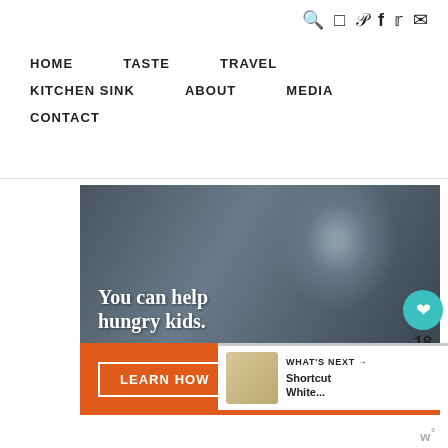Navigation bar with social icons: search, instagram, pinterest, facebook, twitter, email
HOME
TASTE
TRAVEL
KITCHEN SINK
ABOUT
MEDIA
CONTACT
[Figure (photo): No Kid Hungry advertisement banner showing a child eating something with text 'You can help hungry kids.' and a 'LEARN HOW' button and No Kid Hungry logo on orange background]
18
WHAT'S NEXT → Shortcut White...
w°